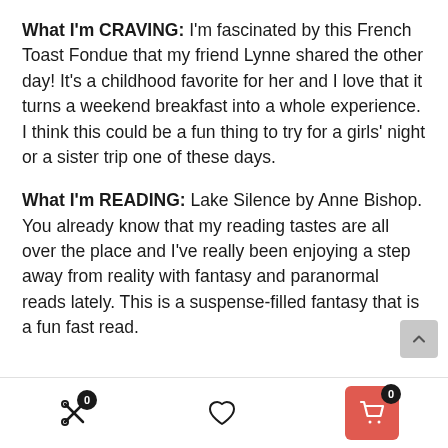What I'm CRAVING: I'm fascinated by this French Toast Fondue that my friend Lynne shared the other day! It's a childhood favorite for her and I love that it turns a weekend breakfast into a whole experience. I think this could be a fun thing to try for a girls' night or a sister trip one of these days.
What I'm READING: Lake Silence by Anne Bishop. You already know that my reading tastes are all over the place and I've really been enjoying a step away from reality with fantasy and paranormal reads lately. This is a suspense-filled fantasy that is a fun fast read.
[Figure (other): Mobile app bottom navigation bar with scissors/tools icon with badge 0, heart icon, and red shopping cart icon with badge 0]